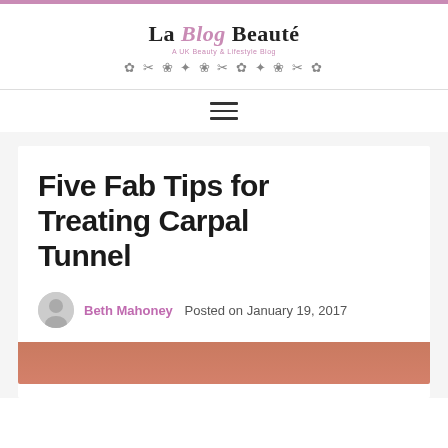La Blog Beauté — A UK Beauty & Lifestyle Blog
Five Fab Tips for Treating Carpal Tunnel
Beth Mahoney   Posted on January 19, 2017